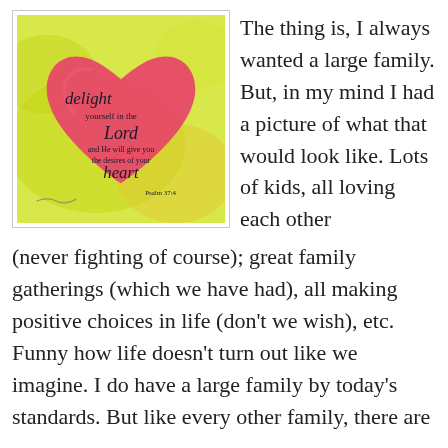[Figure (illustration): Watercolor illustration of a large pink heart on a yellow-green background, with handwritten-style text reading: 'delight yourself in the Lord and He will give you the desires of your heart Psalm 37:4']
The thing is, I always wanted a large family. But, in my mind I had a picture of what that would look like. Lots of kids, all loving each other (never fighting of course); great family gatherings (which we have had), all making positive choices in life (don't we wish), etc. Funny how life doesn't turn out like we imagine. I do have a large family by today's standards. But like every other family, there are